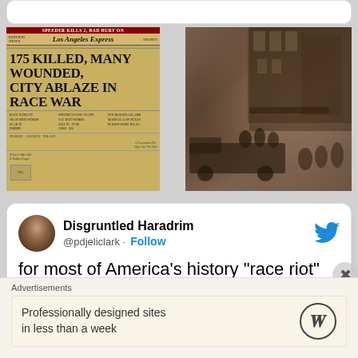[Figure (photo): Two historical images side by side: left is a Los Angeles Express newspaper front page with headline '175 KILLED, MANY WOUNDED, CITY ABLAZE IN RACE WAR'; right is a sepia-toned historical photograph showing people on a truck in front of brick buildings.]
Disgruntled Haradrim
@pdjeliclark · Follow
for most of America's history "race riot" meant white supremacy asserting
Advertisements
Professionally designed sites in less than a week